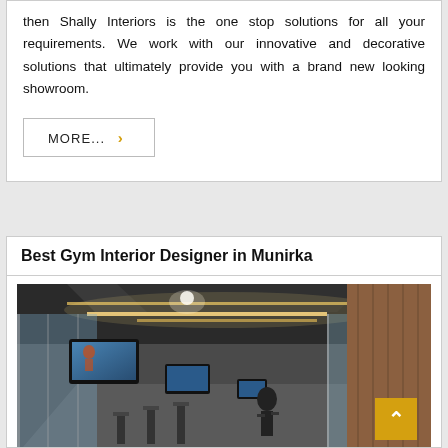then Shally Interiors is the one stop solutions for all your requirements. We work with our innovative and decorative solutions that ultimately provide you with a brand new looking showroom.
MORE... ›
Best Gym Interior Designer in Munirka
[Figure (photo): Interior photograph of a modern gym showing ceiling with recessed lighting panels, flat-screen monitors mounted on wall, exercise equipment, glass partitions, and wood-paneled wall in the background.]